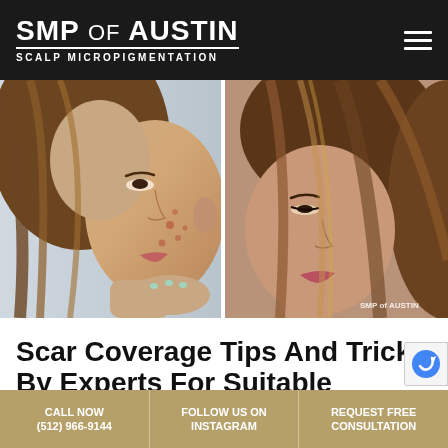SMP of AUSTIN — SCALP MICROPIGMENTATION
[Figure (photo): Before and after side-by-side comparison photos of a woman's face with acne/scars on the left and clear skin on the right, with 'SMP of AUSTIN' watermark]
Scar Coverage Tips And Tricks By Experts For Suitable Results In Austin
Leave a Comment / Alopecia Treatments, Hair Loss Treatm
CALL NOW (512) 966-9144 | FOLLOW US ON INSTAGRAM | REQUEST FREE CONSULTATION